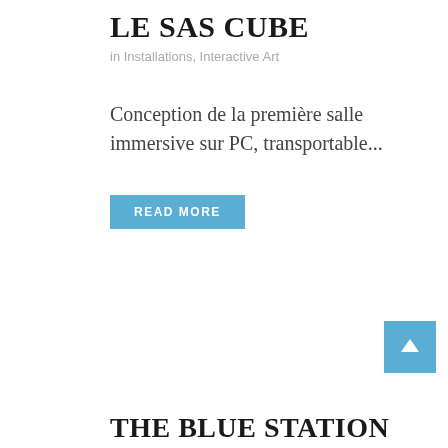LE SAS CUBE
in Installations, Interactive Art
Conception de la première salle immersive sur PC, transportable...
READ MORE
[Figure (illustration): Blue square button with upward arrow icon (scroll-to-top button)]
THE BLUE STATION